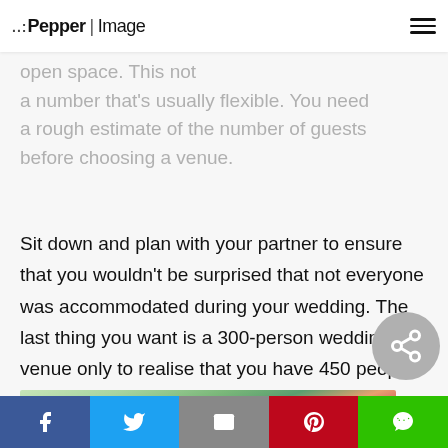Pepper | Image
open space. This not a number that's usually flexible. You need a rough estimate of the number of guests before choosing a venue.
Sit down and plan with your partner to ensure that you wouldn't be surprised that not everyone was accommodated during your wedding. The last thing you want is a 300-person wedding venue only to realise that you have 450 people in your guest list who confirmed their attendance.
[Figure (photo): Outdoor scene with trees, flowers and foliage in the background — partial image at bottom of page.]